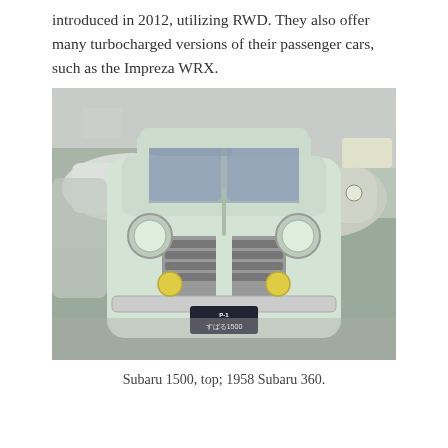introduced in 2012, utilizing RWD. They also offer many turbocharged versions of their passenger cars, such as the Impreza WRX.
[Figure (photo): Front view of a vintage Subaru 1500 automobile displayed at a car show, with a license plate reading 'P-1 すばる1500'. In the background, a 1958 Subaru 360 and other classic cars are visible.]
Subaru 1500, top; 1958 Subaru 360.